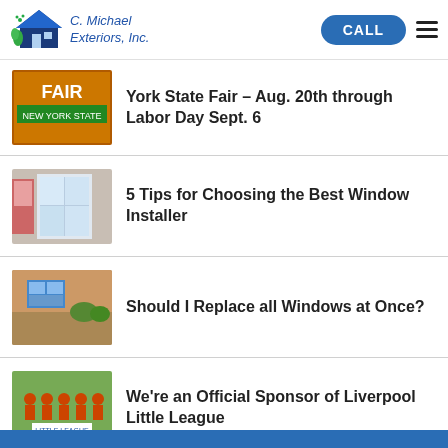[Figure (logo): C. Michael Exteriors, Inc. logo with house icon]
CALL
York State Fair – Aug. 20th through Labor Day Sept. 6
5 Tips for Choosing the Best Window Installer
Should I Replace all Windows at Once?
We're an Official Sponsor of Liverpool Little League
What's The Best Time Of The Year To Replace Your Windows?